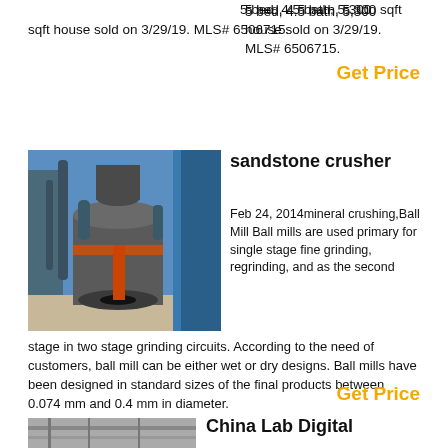5 bed, 4.5 bath, 5,300 sqft house sold on 3/29/19. MLS# 6506715.
Get Price
sandstone crusher
[Figure (photo): Industrial sandstone crusher / ball mill facility with large cylindrical equipment, blue storage silos, pipes and orange-accented machinery under a blue sky.]
Feb 24, 2014mineral crushing,Ball Mill Ball mills are used primary for single stage fine grinding, regrinding, and as the second stage in two stage grinding circuits. According to the need of customers, ball mill can be either wet or dry designs. Ball mills have been designed in standard sizes of the final products between 0.074 mm and 0.4 mm in diameter.
Get Price
China Lab Digital
[Figure (photo): Partial view of China Lab Digital device, grayscale image showing industrial or laboratory equipment.]